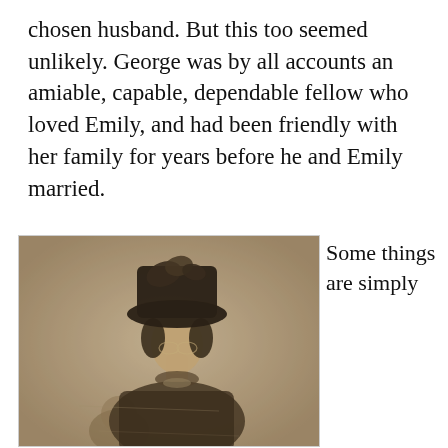chosen husband. But this too seemed unlikely. George was by all accounts an amiable, capable, dependable fellow who loved Emily, and had been friendly with her family for years before he and Emily married.
[Figure (photo): Sepia-toned historical photograph of a woman wearing a large dark hat with feathers, seated, with another figure partially visible in the lower background.]
Some things are simply